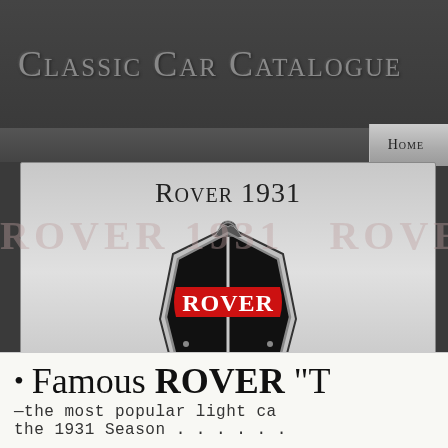Classic Car Catalogue
Home
Rover 1931
[Figure (logo): Rover shield logo with red background, stylized 'ROVER' text in white, black decorative elements and scroll-work at base]
Famous ROVER "T — the most popular light ca the 1931 Season . . . . . .